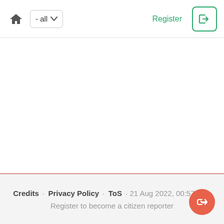home - all  Register
Credits · Privacy Policy · ToS · 21 Aug 2022, 00:57:50 · Register to become a citizen reporter